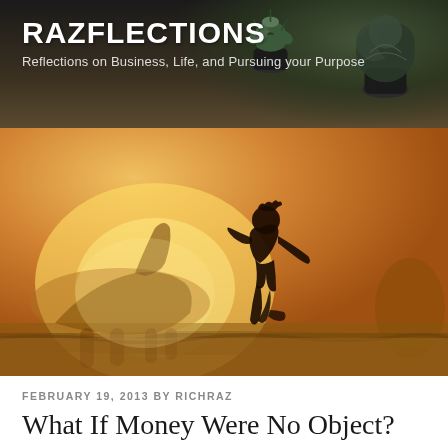RAZFLECTIONS
Reflections on Business, Life, and Pursuing your Purpose
[Figure (photo): Silhouette of a child running in a golden-lit field with a horse in the background, warm amber/golden hour lighting]
FEBRUARY 19, 2013 BY RICHRAZ
What If Money Were No Object?